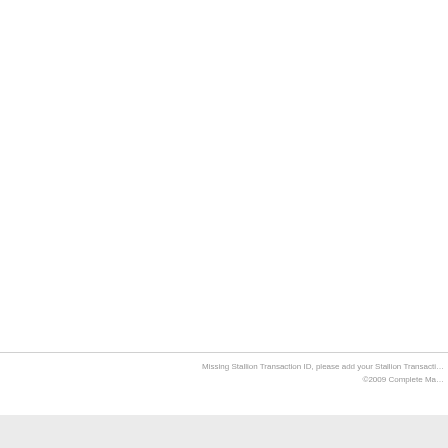Missing Stallion Transaction ID, please add your Stallion Transacti...
©2009 Complete Ma...